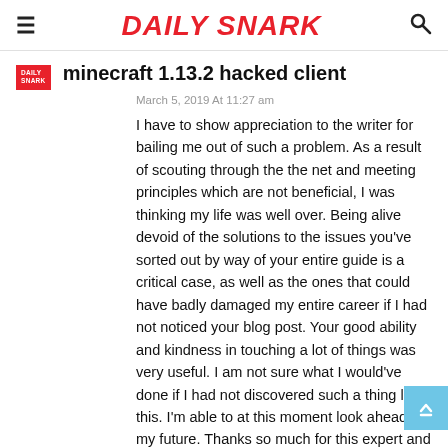DAILY SNARK
minecraft 1.13.2 hacked client
March 5, 2019 At 11:27 am
I have to show appreciation to the writer for bailing me out of such a problem. As a result of scouting through the the net and meeting principles which are not beneficial, I was thinking my life was well over. Being alive devoid of the solutions to the issues you've sorted out by way of your entire guide is a critical case, as well as the ones that could have badly damaged my entire career if I had not noticed your blog post. Your good ability and kindness in touching a lot of things was very useful. I am not sure what I would've done if I had not discovered such a thing like this. I'm able to at this moment look ahead to my future. Thanks so much for this expert and result oriented guide. I won't hesitate to suggest your blog to anybody who ought to have care on this area.
Log in to leave a comment